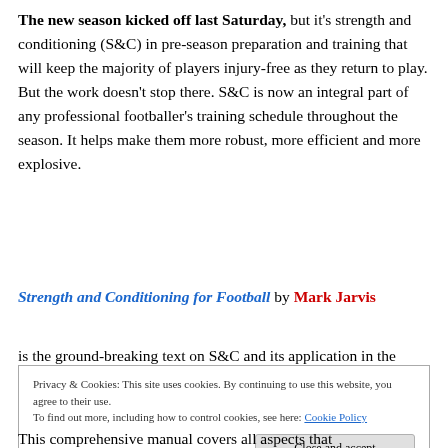The new season kicked off last Saturday, but it's strength and conditioning (S&C) in pre-season preparation and training that will keep the majority of players injury-free as they return to play. But the work doesn't stop there. S&C is now an integral part of any professional footballer's training schedule throughout the season. It helps make them more robust, more efficient and more explosive.
Strength and Conditioning for Football by Mark Jarvis is the ground-breaking text on S&C and its application in the professional game. Mark is Director of Performance
Privacy & Cookies: This site uses cookies. By continuing to use this website, you agree to their use. To find out more, including how to control cookies, see here: Cookie Policy
This comprehensive manual covers all aspects that